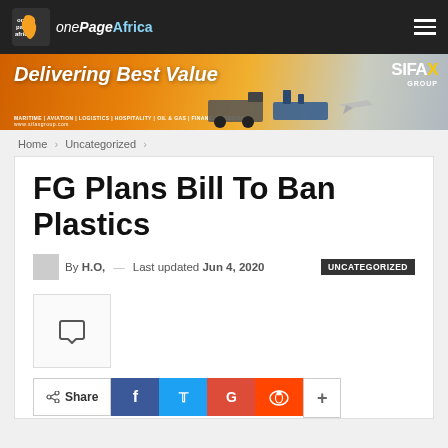onePageAfrica
[Figure (infographic): SIFAX Group advertisement banner: 'Delivering Best Value' with images of trucks, ship, aircraft, and buildings]
Home > Uncategorized >
FG Plans Bill To Ban Plastics
By H.O, — Last updated Jun 4, 2020  UNCATEGORIZED
[Figure (other): Comment icon box]
Share  f  t  G  reddit  +